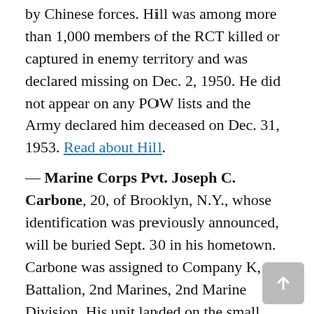by Chinese forces. Hill was among more than 1,000 members of the RCT killed or captured in enemy territory and was declared missing on Dec. 2, 1950. He did not appear on any POW lists and the Army declared him deceased on Dec. 31, 1953. Read about Hill.
— Marine Corps Pvt. Joseph C. Carbone, 20, of Brooklyn, N.Y., whose identification was previously announced, will be buried Sept. 30 in his hometown. Carbone was assigned to Company K, 3rd Battalion, 2nd Marines, 2nd Marine Division. His unit landed on the small island of Betio in the Tarawa Atoll on Nov. 20, 1943, against stiff Japanese resistance. Carbone was killed on the first day of the battle. Read about Carbone.
— Army Sgt. Thomas E. Zimmer, 19, of Milwaukee,